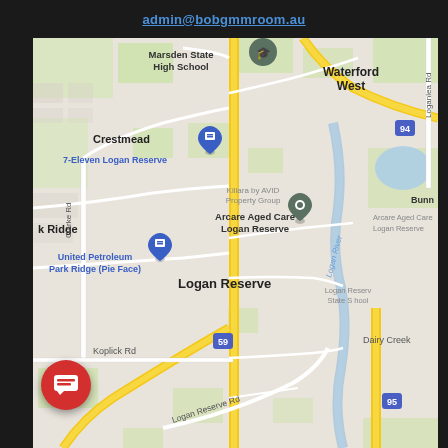admin@bobgmmroom.au
[Figure (map): Google Maps screenshot showing Logan Reserve area in Queensland, Australia. Notable locations include Marsden State High School, Waterford West, Crestmead, 7-Eleven Logan Reserve, Arcare Aged Care Logan Reserve, United Petroleum Park Ridge (Pie Face), Logan Reserve, Koplick Rd, Logan Reserve Rd, Clarke Rd, Loganlea Rd, Logan River, Dairy Creek. Route numbers 59, 94, 95 visible. Red chat button overlay in bottom left.]